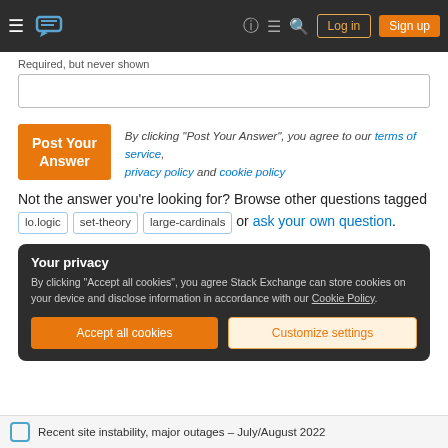Stack Exchange navigation bar with hamburger menu, logo, help, chat, search, Log in, Sign up
Required, but never shown
Post Your Answer - By clicking "Post Your Answer", you agree to our terms of service, privacy policy and cookie policy
Not the answer you’re looking for? Browse other questions tagged lo.logic set-theory large-cardinals or ask your own question.
Your privacy
By clicking “Accept all cookies”, you agree Stack Exchange can store cookies on your device and disclose information in accordance with our Cookie Policy.
Accept all cookies   Customize settings
Recent site instability, major outages – July/August 2022